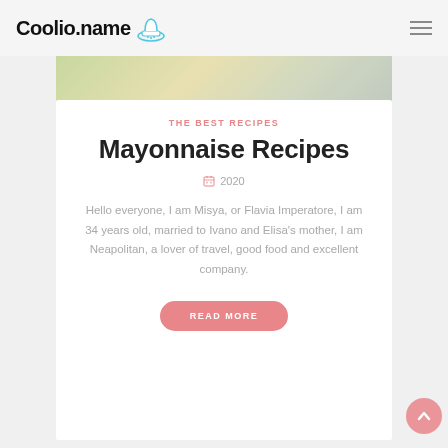Coolio.name
[Figure (photo): Partial view of a food/salad dish photo at the top of the card]
THE BEST RECIPES
Mayonnaise Recipes
2020
Hello everyone, I am Misya, or Flavia Imperatore, I am 34 years old, married to Ivano and Elisa's mother, I am Neapolitan, a lover of travel, good food and excellent company.
READ MORE